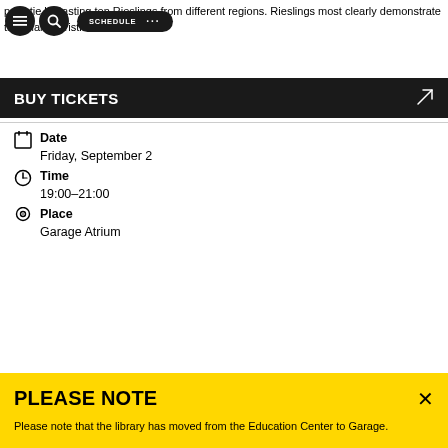properties by tasting ten Rieslings from different regions. Rieslings most clearly demonstrate the characteristics of their area.
SCHEDULE
BUY TICKETS
Date
Friday, September 2
Time
19:00–21:00
Place
Garage Atrium
PLEASE NOTE
Please note that the library has moved from the Education Center to Garage.